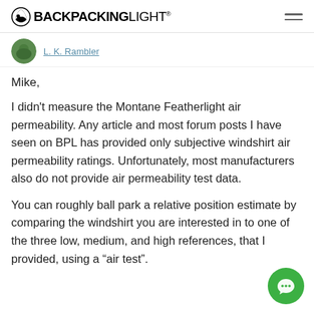BACKPACKINGLIGHT
Mike,
I didn't measure the Montane Featherlight air permeability. Any article and most forum posts I have seen on BPL has provided only subjective windshirt air permeability ratings. Unfortunately, most manufacturers also do not provide air permeability test data.
You can roughly ball park a relative position estimate by comparing the windshirt you are interested in to one of the three low, medium, and high references, that I provided, using a “air test”.